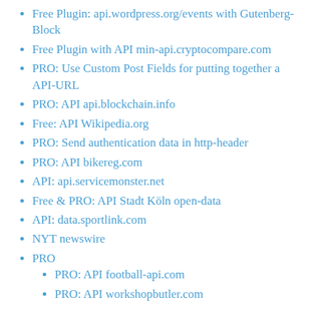Free Plugin: api.wordpress.org/events with Gutenberg-Block
Free Plugin with API min-api.cryptocompare.com
PRO: Use Custom Post Fields for putting together a API-URL
PRO: API api.blockchain.info
Free: API Wikipedia.org
PRO: Send authentication data in http-header
PRO: API bikereg.com
API: api.servicemonster.net
Free & PRO: API Stadt Köln open-data
API: data.sportlink.com
NYT newswire
PRO
PRO: API football-api.com
PRO: API workshopbutler.com